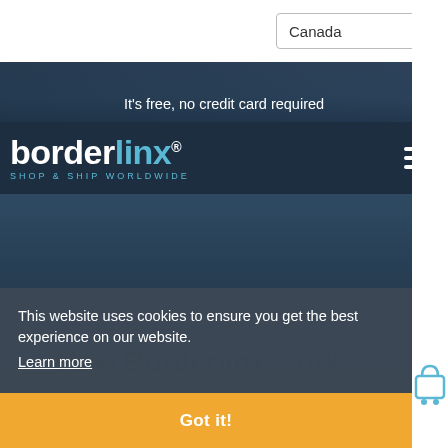[Figure (screenshot): Borderlinx website screenshot showing hero image of hands working, navbar with borderlinx logo, cookie consent banner, and 'How Borderlinx works' heading]
It's free, no credit card required
borderlinx® SHOP & SHIP WORLDWIDE
This website uses cookies to ensure you get the best experience on our website.
Learn more
How Borderlinx works
Got it!